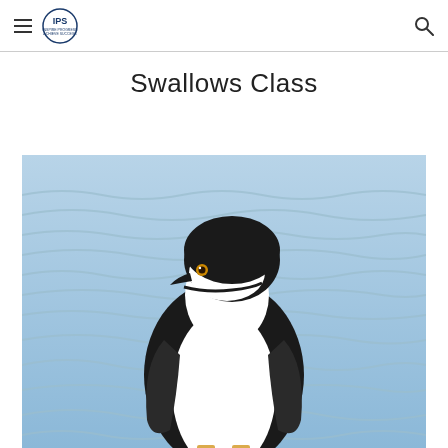IPS — navigation header with hamburger menu and search icon
Swallows Class
[Figure (photo): Close-up photograph of a chinstrap penguin standing upright against a blurred blue ocean background. The penguin has a black cap, white face, orange eye, black beak, and white front.]